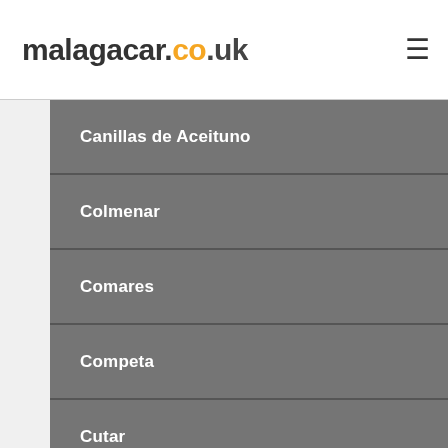malagacar.co.uk
Canillas de Aceituno
Colmenar
Comares
Competa
Cutar
El Borge
Frigiliana
Iznate
Macharaviaya
Moclinejo
Periana